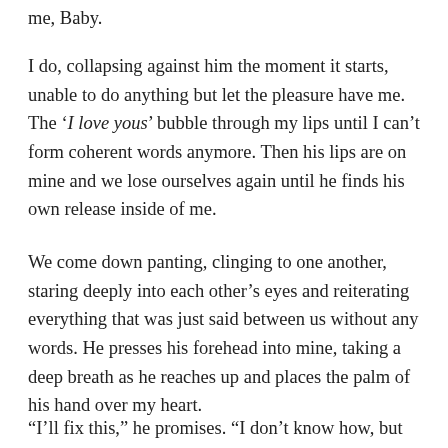me, Baby.
I do, collapsing against him the moment it starts, unable to do anything but let the pleasure have me. The ‘I love yous’ bubble through my lips until I can’t form coherent words anymore. Then his lips are on mine and we lose ourselves again until he finds his own release inside of me.
We come down panting, clinging to one another, staring deeply into each other’s eyes and reiterating everything that was just said between us without any words. He presses his forehead into mine, taking a deep breath as he reaches up and places the palm of his hand over my heart.
“I’ll fix this,” he promises. “I don’t know how, but I’m